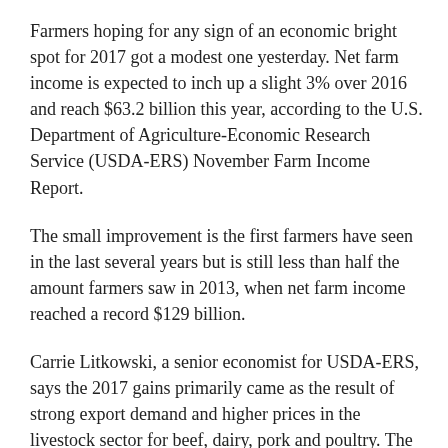Farmers hoping for any sign of an economic bright spot for 2017 got a modest one yesterday. Net farm income is expected to inch up a slight 3% over 2016 and reach $63.2 billion this year, according to the U.S. Department of Agriculture-Economic Research Service (USDA-ERS) November Farm Income Report.
The small improvement is the first farmers have seen in the last several years but is still less than half the amount farmers saw in 2013, when net farm income reached a record $129 billion.
Carrie Litkowski, a senior economist for USDA-ERS, says the 2017 gains primarily came as the result of strong export demand and higher prices in the livestock sector for beef, dairy, pork and poultry. The USDA cites a couple of examples: cotton and cattle prices have helped